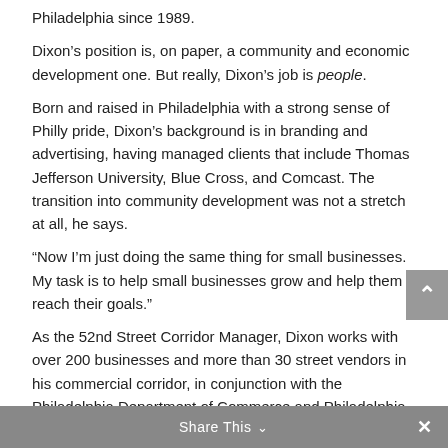Philadelphia since 1989.
Dixon’s position is, on paper, a community and economic development one. But really, Dixon’s job is people.
Born and raised in Philadelphia with a strong sense of Philly pride, Dixon’s background is in branding and advertising, having managed clients that include Thomas Jefferson University, Blue Cross, and Comcast. The transition into community development was not a stretch at all, he says.
“Now I’m just doing the same thing for small businesses. My task is to help small businesses grow and help them reach their goals.”
As the 52nd Street Corridor Manager, Dixon works with over 200 businesses and more than 30 street vendors in his commercial corridor, in conjunction with the Philadelphia Department of Commerce and Philadelphia LISC (Local Initiatives Support Corporation).
Share This